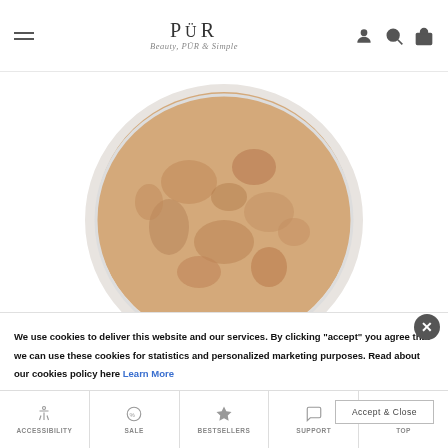PÜR Beauty, PÜR & Simple
[Figure (photo): Close-up top view of an open round compact powder case with white rim, showing beige/tan pressed powder with marbled texture]
We use cookies to deliver this website and our services. By clicking "accept" you agree that we can use these cookies for statistics and personalized marketing purposes. Read about our cookies policy here Learn More
ACCESSIBILITY | SALE | BESTSELLERS | SUPPORT | TOP